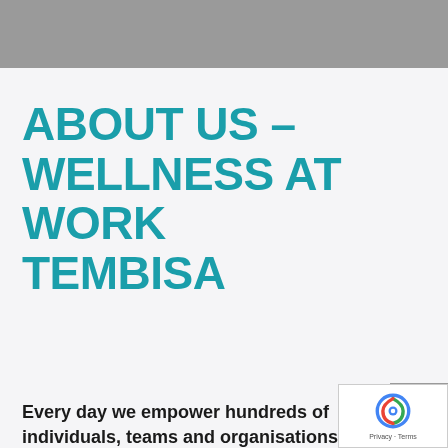ABOUT US – WELLNESS AT WORK TEMBISA
Every day we empower hundreds of individuals, teams and organisations to take control of their performance as well as their mental and physical wellness. By killing the obvious, creating clarity within their role and their teams…